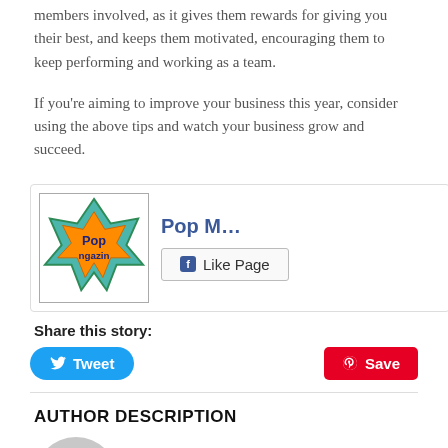members involved, as it gives them rewards for giving you their best, and keeps them motivated, encouraging them to keep performing and working as a team.
If you’re aiming to improve your business this year, consider using the above tips and watch your business grow and succeed.
[Figure (other): Facebook Like Page widget for Pop M… showing page logo and Like Page button]
Share this story:
[Figure (other): Tweet button (Twitter) and Save button (Pinterest) for sharing]
AUTHOR DESCRIPTION
[Figure (other): Generic author avatar placeholder icon (grey circle with silhouette)]